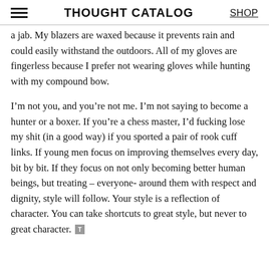THOUGHT CATALOG | SHOP
a jab. My blazers are waxed because it prevents rain and could easily withstand the outdoors. All of my gloves are fingerless because I prefer not wearing gloves while hunting with my compound bow.
I’m not you, and you’re not me. I’m not saying to become a hunter or a boxer. If you’re a chess master, I’d fucking lose my shit (in a good way) if you sported a pair of rook cuff links. If young men focus on improving themselves every day, bit by bit. If they focus on not only becoming better human beings, but treating – everyone- around them with respect and dignity, style will follow. Your style is a reflection of character. You can take shortcuts to great style, but never to great character.